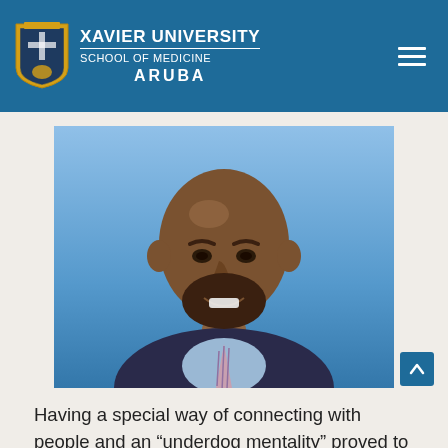Xavier University School of Medicine Aruba
[Figure (photo): Professional headshot of a bald man with a beard, wearing a dark suit with a light blue shirt and patterned tie, smiling against a blue background.]
Having a special way of connecting with people and an “underdog mentality” proved to be a